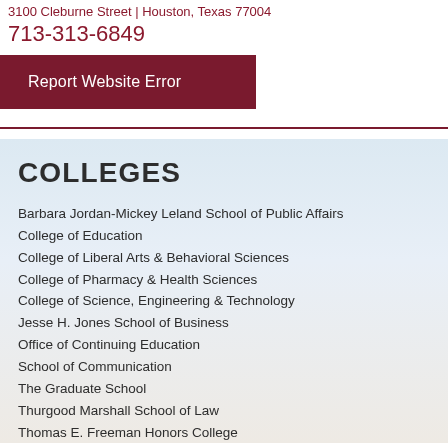3100 Cleburne Street | Houston, Texas 77004
713-313-6849
Report Website Error
COLLEGES
Barbara Jordan-Mickey Leland School of Public Affairs
College of Education
College of Liberal Arts & Behavioral Sciences
College of Pharmacy & Health Sciences
College of Science, Engineering & Technology
Jesse H. Jones School of Business
Office of Continuing Education
School of Communication
The Graduate School
Thurgood Marshall School of Law
Thomas E. Freeman Honors College